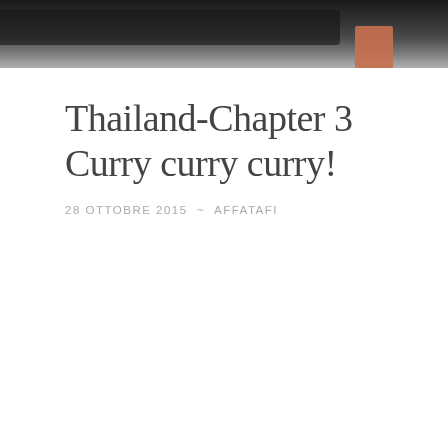[Figure (photo): Partial view of a boat or watercraft near water, with an orange/reddish element visible at the right side, dark tones dominating the top portion.]
Thailand-Chapter 3 Curry curry curry!
28 OTTOBRE 2015  ~  AFFATAFI